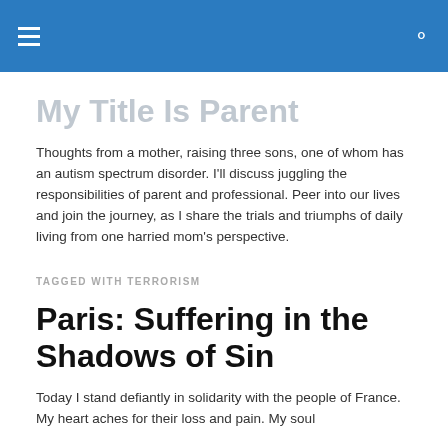My Title Is Parent
My Title Is Parent
Thoughts from a mother, raising three sons, one of whom has an autism spectrum disorder. I'll discuss juggling the responsibilities of parent and professional. Peer into our lives and join the journey, as I share the trials and triumphs of daily living from one harried mom's perspective.
TAGGED WITH TERRORISM
Paris: Suffering in the Shadows of Sin
Today I stand defiantly in solidarity with the people of France. My heart aches for their loss and pain. My soul